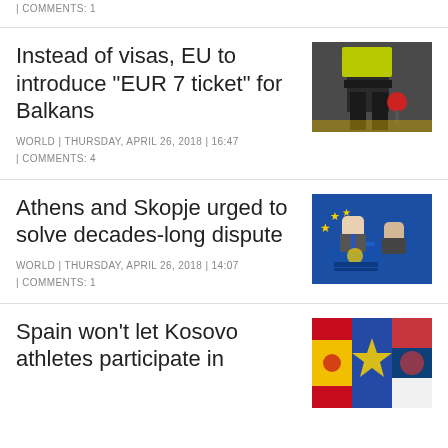| COMMENTS: 1
Instead of visas, EU to introduce "EUR 7 ticket" for Balkans
WORLD | THURSDAY, APRIL 26, 2018 | 16:47 | COMMENTS: 4
[Figure (photo): Police officer legs and traffic stop paddle]
Athens and Skopje urged to solve decades-long dispute
WORLD | THURSDAY, APRIL 26, 2018 | 14:07 | COMMENTS: 1
[Figure (photo): Two men speaking at podium with EU flags in background]
Spain won't let Kosovo athletes participate in
[Figure (photo): Flags of Spain, Kosovo, and Serbia]